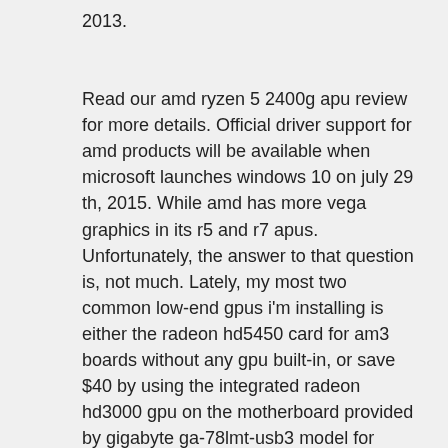2013.
Read our amd ryzen 5 2400g apu review for more details. Official driver support for amd products will be available when microsoft launches windows 10 on july 29 th, 2015. While amd has more vega graphics in its r5 and r7 apus. Unfortunately, the answer to that question is, not much. Lately, my most two common low-end gpus i'm installing is either the radeon hd5450 card for am3 boards without any gpu built-in, or save $40 by using the integrated radeon hd3000 gpu on the motherboard provided by gigabyte ga-78lmt-usb3 model for example. Dxdiag sees the intel as the display adapter .
How to fix no amd graphics driver is installed on windows 2020 easy and simple. How to find amd radeon graphics settings for pc pratik shinde. In this video i will show you guys 'how to change from intel